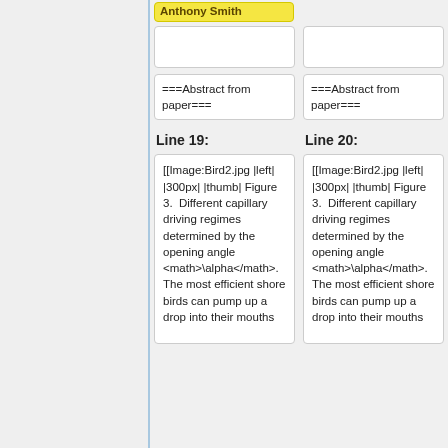Anthony Smith
===Abstract from paper===
===Abstract from paper===
Line 19:
Line 20:
[[Image:Bird2.jpg |left| |300px| |thumb| Figure 3.  Different capillary driving regimes determined by the opening angle <math>\alpha</math>.  The most efficient shore birds can pump up a drop into their mouths
[[Image:Bird2.jpg |left| |300px| |thumb| Figure 3.  Different capillary driving regimes determined by the opening angle <math>\alpha</math>.  The most efficient shore birds can pump up a drop into their mouths